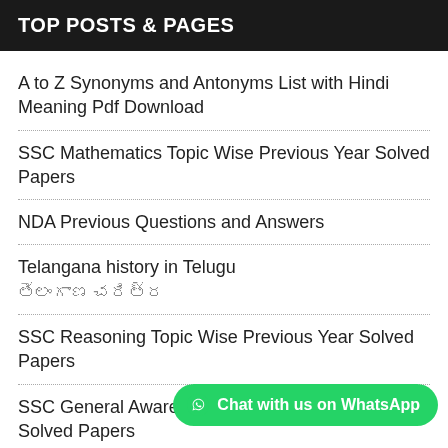TOP POSTS & PAGES
A to Z Synonyms and Antonyms List with Hindi Meaning Pdf Download
SSC Mathematics Topic Wise Previous Year Solved Papers
NDA Previous Questions and Answers
Telangana history in Telugu తెలంగాణ చరిత్ర
SSC Reasoning Topic Wise Previous Year Solved Papers
SSC General Awareness Topic Wise Previous Year Solved Papers
Telangana History Library Movement in Telangana
Telangana History Ikshvakus and their Contributions